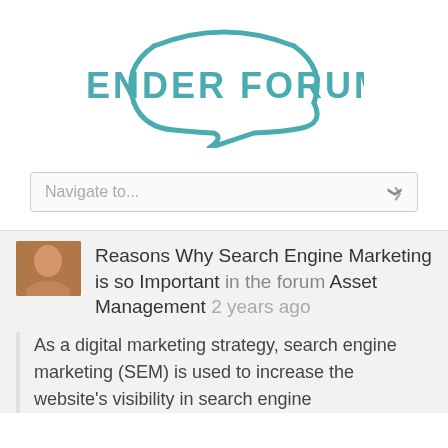[Figure (logo): Lender Forum logo: teal speech bubble outline with bold teal text LENDER FORUM inside]
Navigate to...
Reasons Why Search Engine Marketing is so Important in the forum Asset Management 2 years ago
As a digital marketing strategy, search engine marketing (SEM) is used to increase the website's visibility in search engine